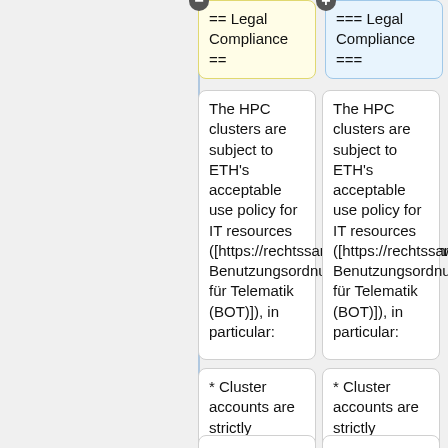== Legal Compliance ==
=== Legal Compliance ===
The HPC clusters are subject to ETH's acceptable use policy for IT resources ([https://rechtssammlung.sp.ethz.ch/Dokumente/203.21en.pdf Benutzungsordnung für Telematik (BOT)]), in particular:
The HPC clusters are subject to ETH's acceptable use policy for IT resources ([https://rechtssammlung.sp.ethz.ch/Dokumente/203.21en.pdf Benutzungsordnung für Telematik (BOT)]), in particular:
* Cluster accounts are strictly personal
* Cluster accounts are strictly personal
* DO NOT share your account
* DO NOT share your account